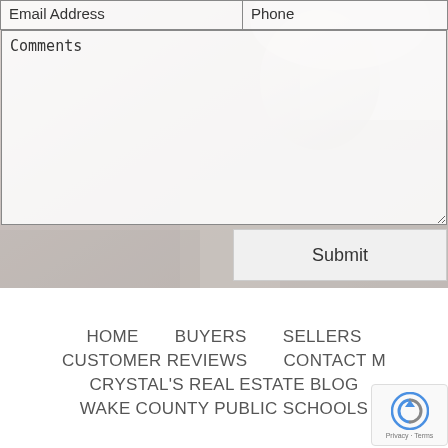[Figure (photo): Background photo of a smiling woman with light hair, rendered in grayscale/sepia tone, overlaid with a contact form]
Email Address
Phone
Comments
Submit
HOME     BUYERS     SELLERS
CUSTOMER REVIEWS     CONTACT ME
CRYSTAL'S REAL ESTATE BLOG
WAKE COUNTY PUBLIC SCHOOLS